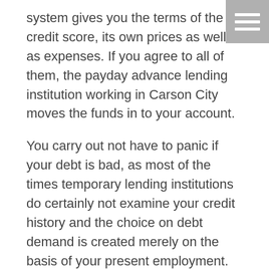system gives you the terms of the credit score, its own prices as well as expenses. If you agree to all of them, the payday advance lending institution working in Carson City moves the funds in to your account.
You carry out not have to panic if your debt is bad, as most of the times temporary lending institutions do certainly not examine your credit history and the choice on debt demand is created merely on the basis of your present employment.
We also work withthe creditors in Carson City who offer various other types of credit history, withlarger amounts and also credit history repayment time periods. If you look at seeking an installation funding or an individual finance of as muchas $15,000, you need to head to the equivalent parts of the food selection